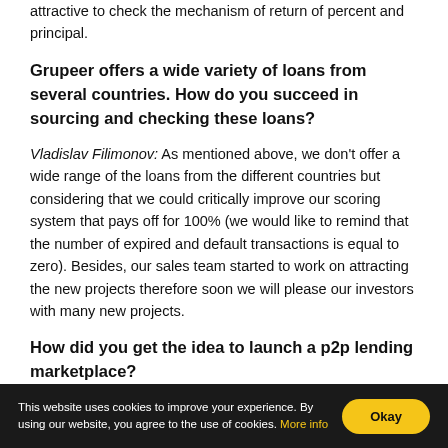attractive to check the mechanism of return of percent and principal.
Grupeer offers a wide variety of loans from several countries. How do you succeed in sourcing and checking these loans?
Vladislav Filimonov: As mentioned above, we don't offer a wide range of the loans from the different countries but considering that we could critically improve our scoring system that pays off for 100% (we would like to remind that the number of expired and default transactions is equal to zero). Besides, our sales team started to work on attracting the new projects therefore soon we will please our investors with many new projects.
How did you get the idea to launch a p2p lending marketplace?
This website uses cookies to improve your experience. By using our website, you agree to the use of cookies. More info